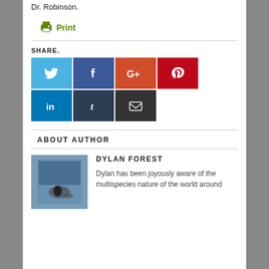Dr. Robinson.
Print
SHARE.
[Figure (infographic): Social share buttons: Twitter (light blue), Facebook (dark blue), Google+ (orange-red), Pinterest (red), LinkedIn (dark blue), Tumblr (dark navy), Email (dark gray)]
ABOUT AUTHOR
DYLAN FOREST
[Figure (photo): Photo of Dylan Forest sitting outdoors with a dog near a blue wall]
Dylan has been joyously aware of the multispecies nature of the world around